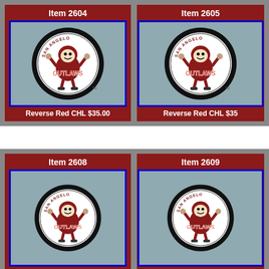[Figure (photo): Item 2604 - San Angelo Outlaws hockey puck, Reverse Red CHL $35.00]
[Figure (photo): Item 2605 - San Angelo Outlaws hockey puck, Reverse Red CHL $35.00 (partially visible)]
[Figure (photo): Item 2608 - San Angelo Outlaws hockey puck (partially visible, bottom row)]
[Figure (photo): Item 2609 - San Angelo Outlaws hockey puck (partially visible, bottom row)]